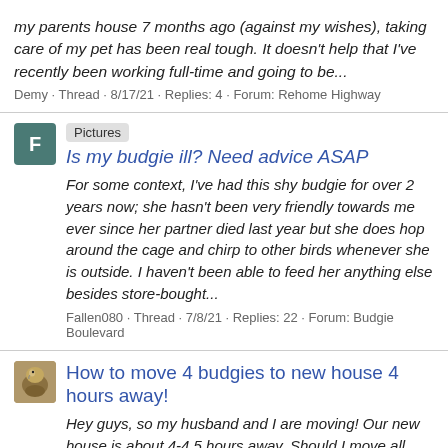my parents house 7 months ago (against my wishes), taking care of my pet has been real tough. It doesn't help that I've recently been working full-time and going to be...
Demy · Thread · 8/17/21 · Replies: 4 · Forum: Rehome Highway
Pictures  Is my budgie ill? Need advice ASAP
For some context, I've had this shy budgie for over 2 years now; she hasn't been very friendly towards me ever since her partner died last year but she does hop around the cage and chirp to other birds whenever she is outside. I haven't been able to feed her anything else besides store-bought...
Fallen080 · Thread · 7/8/21 · Replies: 22 · Forum: Budgie Boulevard
How to move 4 budgies to new house 4 hours away!
Hey guys, so my husband and I are moving! Our new house is about 4-4.5 hours away. Should I move all four birds in one container? And what should I use? I have a backpack but they don't like it/ it would be hard to put all four in. I also have the